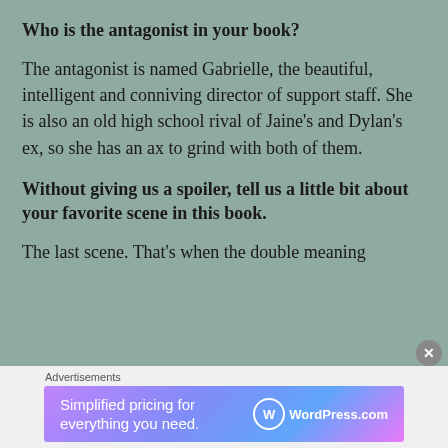Who is the antagonist in your book?
The antagonist is named Gabrielle, the beautiful, intelligent and conniving director of support staff. She is also an old high school rival of Jaine’s and Dylan’s ex, so she has an ax to grind with both of them.
Without giving us a spoiler, tell us a little bit about your favorite scene in this book.
The last scene. That’s when the double meaning
Advertisements
[Figure (other): WordPress.com advertisement banner: Simplified pricing for everything you need.]